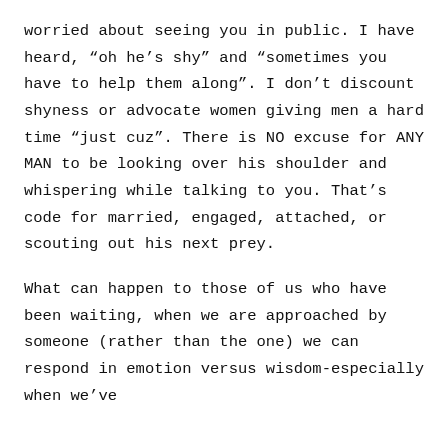worried about seeing you in public. I have heard, “oh he’s shy” and “sometimes you have to help them along”. I don’t discount shyness or advocate women giving men a hard time “just cuz”. There is NO excuse for ANY MAN to be looking over his shoulder and whispering while talking to you. That’s code for married, engaged, attached, or scouting out his next prey.
What can happen to those of us who have been waiting, when we are approached by someone (rather than the one) we can respond in emotion versus wisdom-especially when we’ve